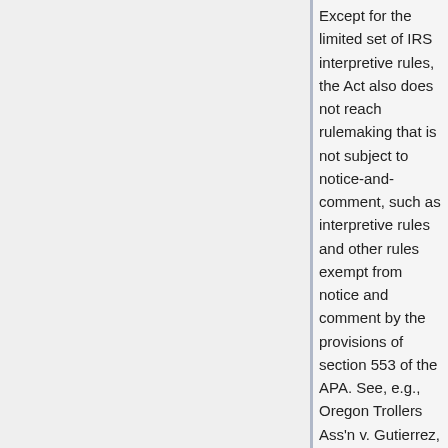Except for the limited set of IRS interpretive rules, the Act also does not reach rulemaking that is not subject to notice-and-comment, such as interpretive rules and other rules exempt from notice and comment by the provisions of section 553 of the APA. See, e.g., Oregon Trollers Ass'n v. Gutierrez,